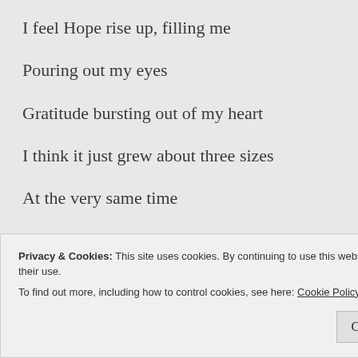I feel Hope rise up, filling me
Pouring out my eyes
Gratitude bursting out of my heart
I think it just grew about three sizes
At the very same time
I feel scared shitless
Not a great word for a poem, maybe
Privacy & Cookies: This site uses cookies. By continuing to use this website, you agree to their use.
To find out more, including how to control cookies, see here: Cookie Policy
Close and accept